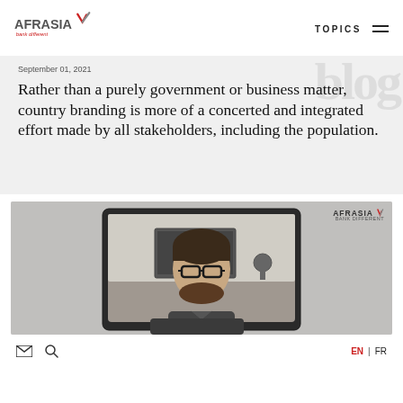AfrAsia Bank Different | TOPICS
September 01, 2021
Rather than a purely government or business matter, country branding is more of a concerted and integrated effort made by all stakeholders, including the population.
[Figure (photo): Video call screenshot showing a man with glasses and beard on a laptop screen, with AfrAsia logo watermark in top right corner]
EN | FR